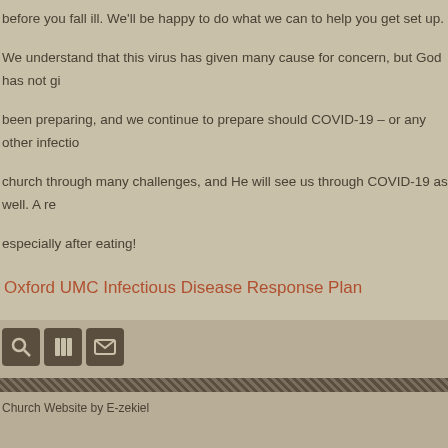before you fall ill. We'll be happy to do what we can to help you get set up.
We understand that this virus has given many cause for concern, but God has not gi
been preparing, and we continue to prepare should COVID-19 – or any other infectio
church through many challenges, and He will see us through COVID-19 as well. A re
especially after eating!
Oxford UMC Infectious Disease Response Plan
[Figure (screenshot): Three icon buttons: search (magnifying glass), columns/menu, and envelope/email on dark background]
Church Website by E-zekiel